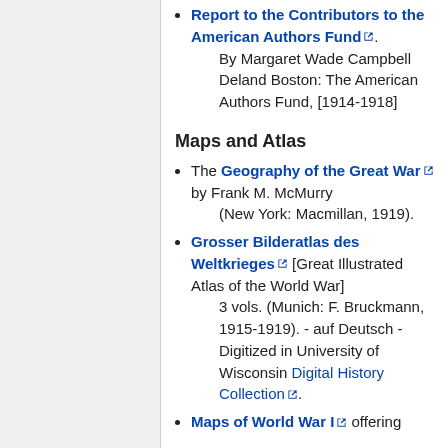Report to the Contributors to the American Authors Fund. By Margaret Wade Campbell Deland Boston: The American Authors Fund, [1914-1918]
Maps and Atlas
The Geography of the Great War by Frank M. McMurry (New York: Macmillan, 1919).
Grosser Bilderatlas des Weltkrieges [Great Illustrated Atlas of the World War] 3 vols. (Munich: F. Bruckmann, 1915-1919). - auf Deutsch - Digitized in University of Wisconsin Digital History Collection.
Maps of World War I offering